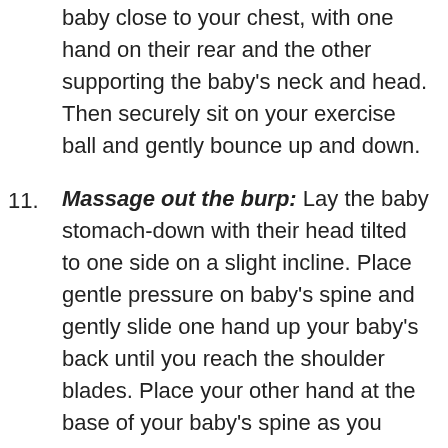baby close to your chest, with one hand on their rear and the other supporting the baby's neck and head. Then securely sit on your exercise ball and gently bounce up and down.
11. Massage out the burp: Lay the baby stomach-down with their head tilted to one side on a slight incline. Place gentle pressure on baby's spine and gently slide one hand up your baby's back until you reach the shoulder blades. Place your other hand at the base of your baby's spine as you massage.
12. Bicycling: Gently cycle baby's legs toward their chest, like pedaling a bicycle, while they lie on their back.